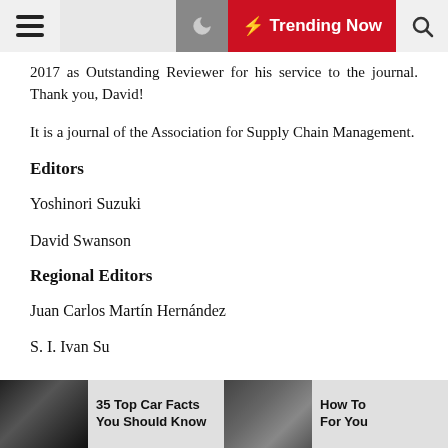Trending Now
2017 as Outstanding Reviewer for his service to the journal. Thank you, David!
It is a journal of the Association for Supply Chain Management.
Editors
Yoshinori Suzuki
David Swanson
Regional Editors
Juan Carlos Martín Hernández
S. I. Ivan Su
35 Top Car Facts You Should Know | How To For You